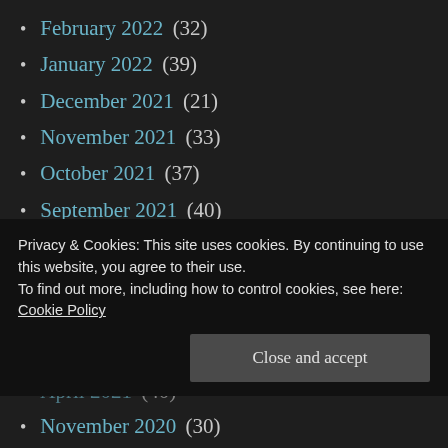February 2022 (32)
January 2022 (39)
December 2021 (21)
November 2021 (33)
October 2021 (37)
September 2021 (40)
August 2021 (37)
July 2021 (29)
June 2021 (35)
May 2021 (32)
April 2021 (40)
Privacy & Cookies: This site uses cookies. By continuing to use this website, you agree to their use.
To find out more, including how to control cookies, see here:
Cookie Policy
November 2020 (30)